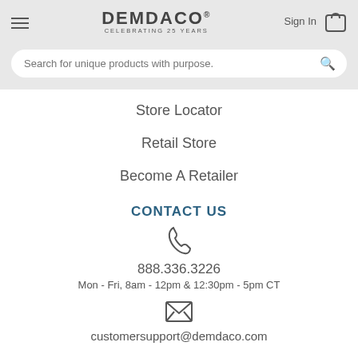DEMDACO CELEBRATING 25 YEARS | Sign In | Search for unique products with purpose.
Store Locator
Retail Store
Become A Retailer
CONTACT US
888.336.3226
Mon - Fri, 8am - 12pm & 12:30pm - 5pm CT
customersupport@demdaco.com